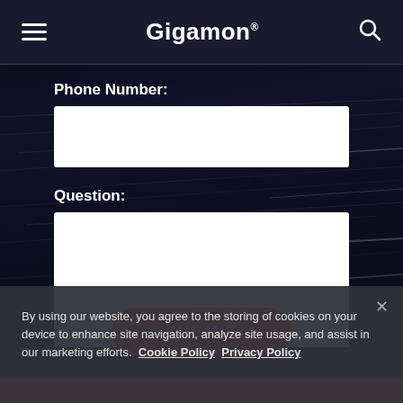Gigamon
Phone Number:
Question:
SUBMIT
By using our website, you agree to the storing of cookies on your device to enhance site navigation, analyze site usage, and assist in our marketing efforts.  Cookie Policy  Privacy Policy